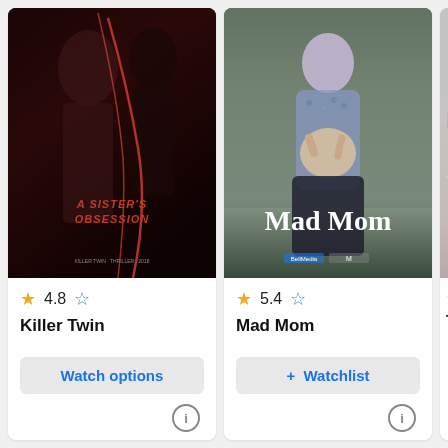[Figure (screenshot): Movie card for 'Killer Twin' (also known as A Sister's Obsession) with dark horror poster, rating 4.8 stars, and Watch options button]
[Figure (screenshot): Movie card for 'Mad Mom' with two women on poster, rating 5.4 stars, and Watchlist button]
[Figure (screenshot): Partial movie card for a third movie (title starting with 'The') with rating 5.something, partially visible]